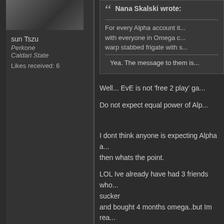[Figure (photo): User avatar photo showing a person, partially cropped]
sun Tszu
Perkone
Caldari State
Likes received: 6
Nana Skalski wrote:
For every Alpha account it... with everyone in Omega c... warp stabbed frigate with s...
Yea. The message to them is...
Well... EvE is not 'free 2 play' ga...
Do not expect equal power of Alp...
I dont think anyone is expecting Alpha a... then whats the point.
LOL Ive already have had 3 friends who... sucker and bought 4 months omega..but Im rea...
This rouge swarm just seems to be pay... could actually run it without 2-4 ppl...